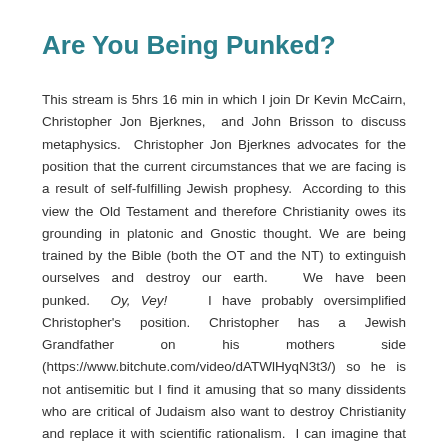Are You Being Punked?
This stream is 5hrs 16 min in which I join Dr Kevin McCairn, Christopher Jon Bjerknes,  and John Brisson to discuss metaphysics.  Christopher Jon Bjerknes advocates for the position that the current circumstances that we are facing is a result of self-fulfilling Jewish prophesy.  According to this view the Old Testament and therefore Christianity owes its grounding in platonic and Gnostic thought. We are being trained by the Bible (both the OT and the NT) to extinguish ourselves and destroy our earth.   We have been punked.   Oy, Vey!    I have probably oversimplified Christopher's position. Christopher has a Jewish Grandfather on his mothers side (https://www.bitchute.com/video/dATWlHyqN3t3/) so he is not antisemitic but I find it amusing that so many dissidents who are critical of Judaism also want to destroy Christianity and replace it with scientific rationalism.  I can imagine that working out real well